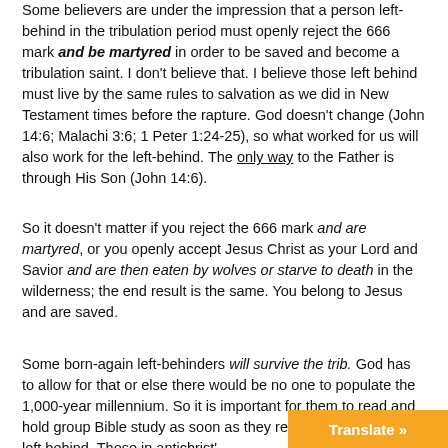Some believers are under the impression that a person left-behind in the tribulation period must openly reject the 666 mark and be martyred in order to be saved and become a tribulation saint. I don't believe that. I believe those left behind must live by the same rules to salvation as we did in New Testament times before the rapture. God doesn't change (John 14:6; Malachi 3:6; 1 Peter 1:24-25), so what worked for us will also work for the left-behind. The only way to the Father is through His Son (John 14:6).
So it doesn't matter if you reject the 666 mark and are martyred, or you openly accept Jesus Christ as your Lord and Savior and are then eaten by wolves or starve to death in the wilderness; the end result is the same. You belong to Jesus and are saved.
Some born-again left-behinders will survive the trib. God has to allow for that or else there would be no one to populate the 1,000-year millennium. So it is important for them to read and hold group Bible study as soon as they realize they have been left behind. Those in antichrist's...